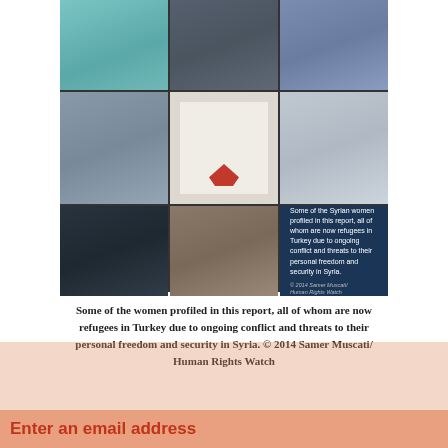[Figure (photo): A collage of 9 photos of Syrian women refugees in Turkey arranged in a 3x3 grid. The bottom-right cell contains a dark blue overlay with text describing the women profiled. Photos show women in various settings — classrooms, indoors, holding artwork, and portraits.]
Some of the women profiled in this report, all of whom are now refugees in Turkey due to ongoing conflict and threats to their personal freedom and security in Syria. © 2014 Samer Muscati/ Human Rights Watch
Enter an email address